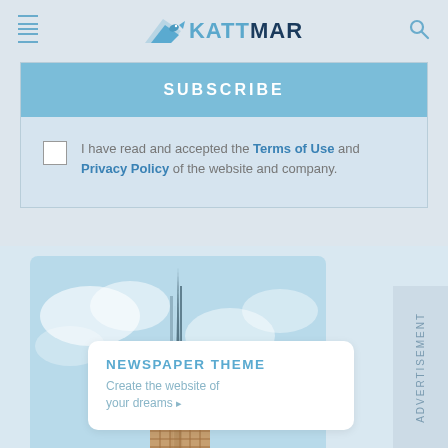KATTMAR
SUBSCRIBE
I have read and accepted the Terms of Use and Privacy Policy of the website and company.
[Figure (photo): Tall modern skyscraper photographed from below against blue sky]
NEWSPAPER THEME
Create the website of your dreams ▸
ADVERTISEMENT